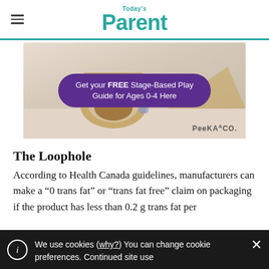Today's Parent
[Figure (illustration): Advertisement banner for Peeka & Co. showing a child playing with wooden play equipment. Purple pill-shaped overlay reads: 'Get your FREE Stage-Based Play Guide for Ages 0-4 Here'. Peeka & Co. logo in bottom right.]
The Loophole
According to Health Canada guidelines, manufacturers can make a “0 trans fat” or “trans fat free” claim on packaging if the product has less than 0.2 g trans fat per
We use cookies (why?) You can change cookie preferences. Continued site use